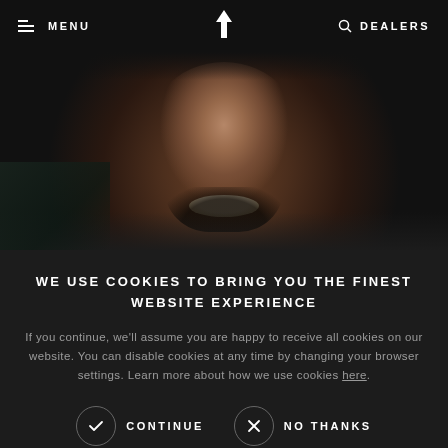MENU | [logo] | DEALERS
[Figure (photo): Close-up photo of a smiling man with a beard against a dark background]
WE USE COOKIES TO BRING YOU THE FINEST WEBSITE EXPERIENCE
If you continue, we'll assume you are happy to receive all cookies on our website. You can disable cookies at any time by changing your browser settings. Learn more about how we use cookies here.
CONTINUE | NO THANKS